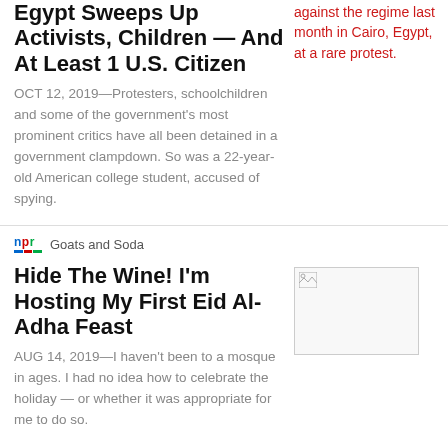Egypt Sweeps Up Activists, Children — And At Least 1 U.S. Citizen
OCT 12, 2019—Protesters, schoolchildren and some of the government's most prominent critics have all been detained in a government clampdown. So was a 22-year-old American college student, accused of spying.
against the regime last month in Cairo, Egypt, at a rare protest.
npr Goats and Soda
Hide The Wine! I'm Hosting My First Eid Al-Adha Feast
AUG 14, 2019—I haven't been to a mosque in ages. I had no idea how to celebrate the holiday — or whether it was appropriate for me to do so.
[Figure (photo): Broken/placeholder image thumbnail]